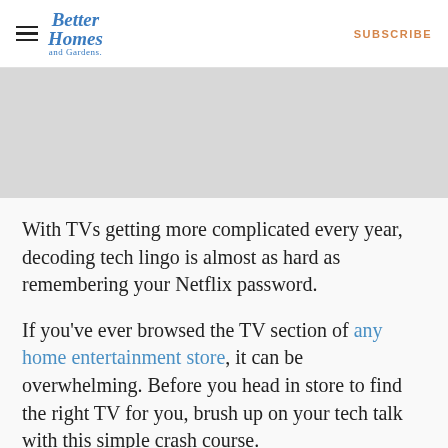Better Homes and Gardens | SUBSCRIBE
[Figure (other): Gray advertisement banner placeholder]
With TVs getting more complicated every year, decoding tech lingo is almost as hard as remembering your Netflix password.
If you've ever browsed the TV section of any home entertainment store, it can be overwhelming. Before you head in store to find the right TV for you, brush up on your tech talk with this simple crash course.
“When buying a new television, it is important to make a list of ‘must-haves’ so you can compare